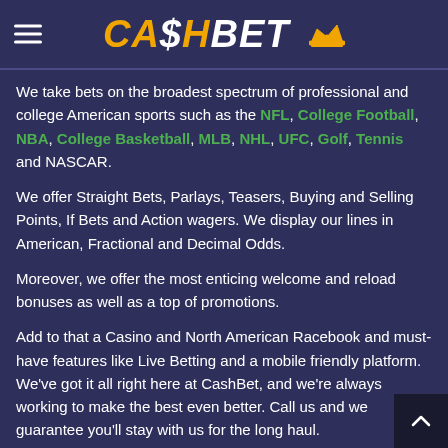CA$HBET
We take bets on the broadest spectrum of professional and college American sports such as the NFL, College Football, NBA, College Basketball, MLB, NHL, UFC, Golf, Tennis and NASCAR.
We offer Straight Bets, Parlays, Teasers, Buying and Selling Points, If Bets and Action wagers. We display our lines in American, Fractional and Decimal Odds.
Moreover, we offer the most enticing welcome and reload bonuses as well as a top of promotions.
Add to that a Casino and North American Racebook and must-have features like Live Betting and a mobile friendly platform. We've got it all right here at CashBet, and we're always working to make the best even better. Call us and we guarantee you'll stay with us for the long haul.